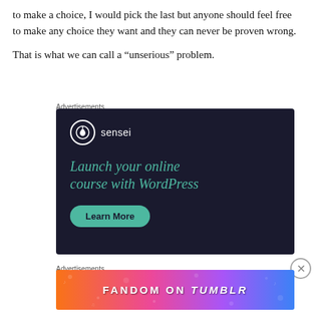to make a choice, I would pick the last but anyone should feel free to make any choice they want and they can never be proven wrong.
That is what we can call a “unserious” problem.
Advertisements
[Figure (screenshot): Sensei advertisement: dark navy background with Sensei logo (tree icon in white circle), headline 'Launch your online course with WordPress' in teal/green serif text, and a 'Learn More' button in teal.]
Advertisements
[Figure (screenshot): Fandom on Tumblr advertisement banner with colorful gradient background (orange to pink to purple) and bold white uppercase text 'FANDOM ON tumblr' with decorative icons.]